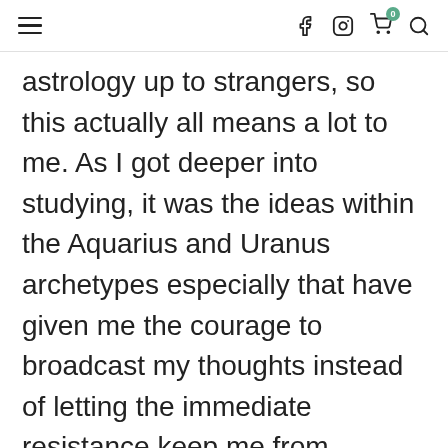≡  f  [instagram]  [cart:0]  [search]
astrology up to strangers, so this actually all means a lot to me. As I got deeper into studying, it was the ideas within the Aquarius and Uranus archetypes especially that have given me the courage to broadcast my thoughts instead of letting the immediate resistance keep me from following my dreams. So whenever you are inclined, please leave a comment or write me about how your week's going; I love hearing your thoughts. And do take me up on my Patreon campaign's offering for astrology readings & show the support that